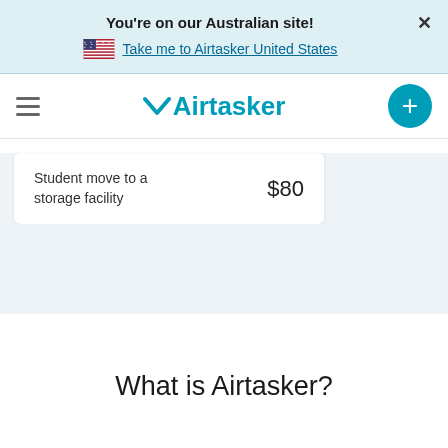You're on our Australian site!
Take me to Airtasker United States
Airtasker
| Task | Price |
| --- | --- |
| Student move to a storage facility | $80 |
What is Airtasker?